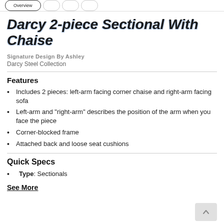tabs: [active tab] [tab] [tab] [tab]
Darcy 2-piece Sectional With Chaise
Signature Design By Ashley
Darcy Steel Collection
Features
Includes 2 pieces: left-arm facing corner chaise and right-arm facing sofa
Left-arm and "right-arm" describes the position of the arm when you face the piece
Corner-blocked frame
Attached back and loose seat cushions
Quick Specs
Type: Sectionals
See More